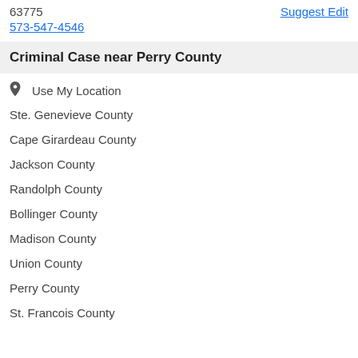63775
573-547-4546
Suggest Edit
Criminal Case near Perry County
Use My Location
Ste. Genevieve County
Cape Girardeau County
Jackson County
Randolph County
Bollinger County
Madison County
Union County
Perry County
St. Francois County